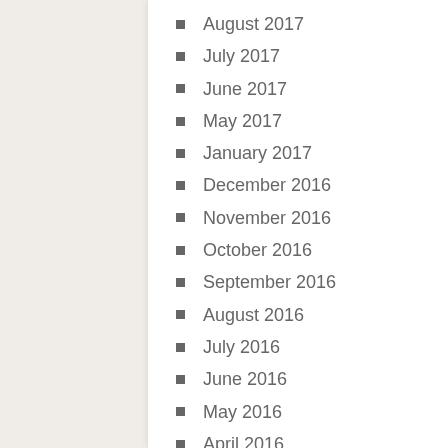August 2017
July 2017
June 2017
May 2017
January 2017
December 2016
November 2016
October 2016
September 2016
August 2016
July 2016
June 2016
May 2016
April 2016
March 2016
February 2016
January 2016